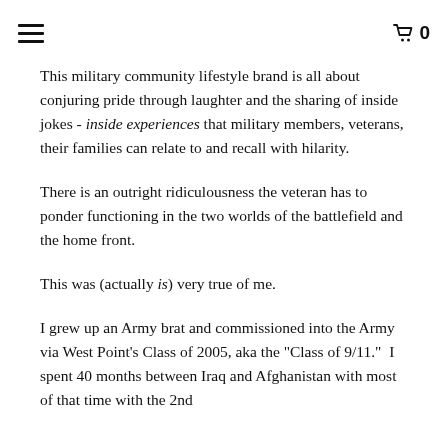≡  🛒 0
This military community lifestyle brand is all about conjuring pride through laughter and the sharing of inside jokes - inside experiences that military members, veterans, their families can relate to and recall with hilarity.
There is an outright ridiculousness the veteran has to ponder functioning in the two worlds of the battlefield and the home front.
This was (actually is) very true of me.
I grew up an Army brat and commissioned into the Army via West Point's Class of 2005, aka the "Class of 9/11."  I spent 40 months between Iraq and Afghanistan with most of that time with the 2nd